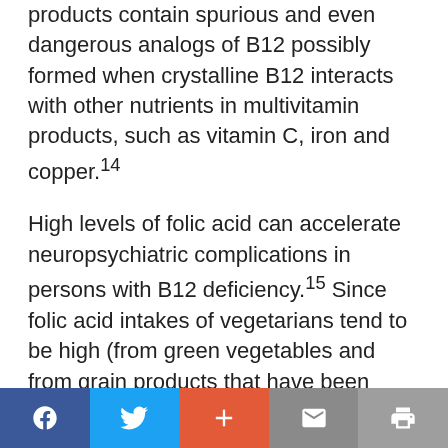products contain spurious and even dangerous analogs of B12 possibly formed when crystalline B12 interacts with other nutrients in multivitamin products, such as vitamin C, iron and copper.14
High levels of folic acid can accelerate neuropsychiatric complications in persons with B12 deficiency.15 Since folic acid intakes of vegetarians tend to be high (from green vegetables and from grain products that have been fortified with folic acid), those following a vegetarian lifestyle may be at increased risk of neurological and psychological problems.
Social share and print buttons